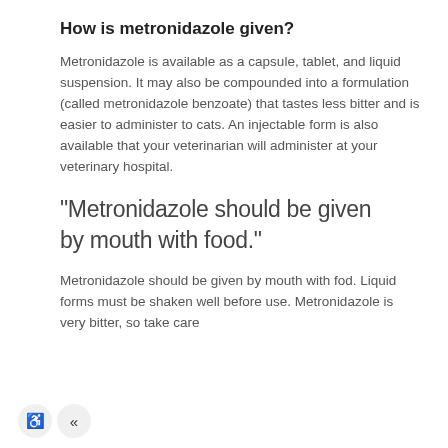How is metronidazole given?
Metronidazole is available as a capsule, tablet, and liquid suspension. It may also be compounded into a formulation (called metronidazole benzoate) that tastes less bitter and is easier to administer to cats. An injectable form is also available that your veterinarian will administer at your veterinary hospital.
"Metronidazole should be given by mouth with food."
Metronidazole should be given by mouth with food. Liquid forms must be shaken well before use. Metronidazole is very bitter, so take care not to crush the tablet as it will be difficult...